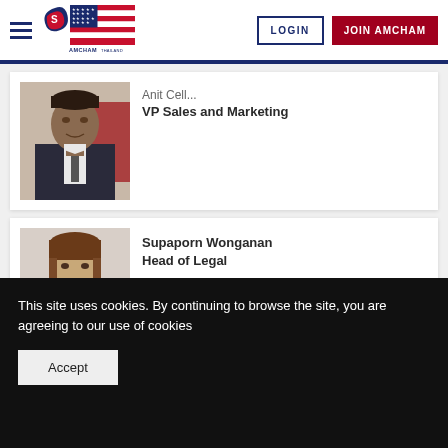AMCHAM Thailand - LOGIN - JOIN AMCHAM
[Figure (photo): Profile photo of a male person in a dark suit and tie, partially visible name above, VP Sales and Marketing title shown]
VP Sales and Marketing
[Figure (photo): Profile photo of Supaporn Wonganan, a woman with shoulder-length brown hair, smiling, wearing professional attire]
Supaporn Wonganan
Head of Legal
This site uses cookies. By continuing to browse the site, you are agreeing to our use of cookies